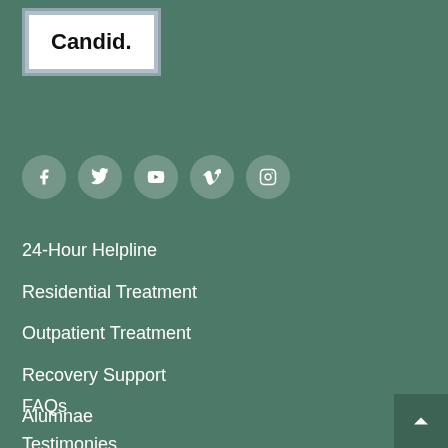[Figure (logo): Candid. logo badge with grey border on teal background]
[Figure (infographic): Social media icons row: Facebook, Twitter, YouTube, Vimeo, Instagram on circular muted green backgrounds]
24-Hour Helpline
Residential Treatment
Outpatient Treatment
Recovery Support
Alumnae
Contact Us
FAQs
Testimonies